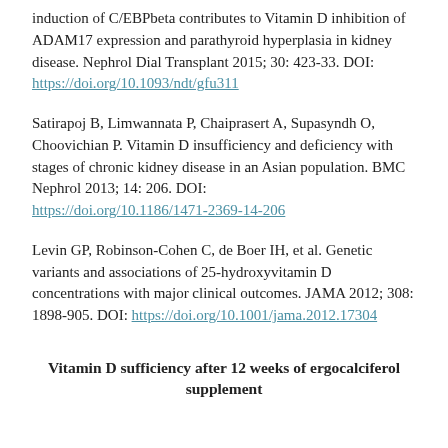induction of C/EBPbeta contributes to Vitamin D inhibition of ADAM17 expression and parathyroid hyperplasia in kidney disease. Nephrol Dial Transplant 2015; 30: 423-33. DOI: https://doi.org/10.1093/ndt/gfu311
Satirapoj B, Limwannata P, Chaiprasert A, Supasyndh O, Choovichian P. Vitamin D insufficiency and deficiency with stages of chronic kidney disease in an Asian population. BMC Nephrol 2013; 14: 206. DOI: https://doi.org/10.1186/1471-2369-14-206
Levin GP, Robinson-Cohen C, de Boer IH, et al. Genetic variants and associations of 25-hydroxyvitamin D concentrations with major clinical outcomes. JAMA 2012; 308: 1898-905. DOI: https://doi.org/10.1001/jama.2012.17304
Vitamin D sufficiency after 12 weeks of ergocalciferol supplement